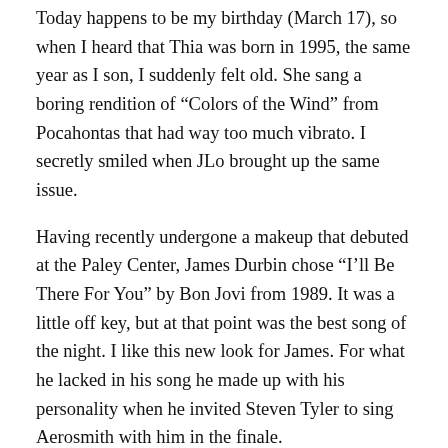Today happens to be my birthday (March 17), so when I heard that Thia was born in 1995, the same year as I son, I suddenly felt old. She sang a boring rendition of “Colors of the Wind” from Pocahontas that had way too much vibrato. I secretly smiled when JLo brought up the same issue.
Having recently undergone a makeup that debuted at the Paley Center, James Durbin chose “I’ll Be There For You” by Bon Jovi from 1989. It was a little off key, but at that point was the best song of the night. I like this new look for James. For what he lacked in his song he made up with his personality when he invited Steven Tyler to sing Aerosmith with him in the finale.
And then we had Haley who I predict is going home tonight. She chose a Whitney Houston song, “I’m Your Baby Tonight.” During the interview, she said, “I don’t know where I get my talent from.” I was shaking my head in agreement. I don’t know where the talent is either lady. The performance was…